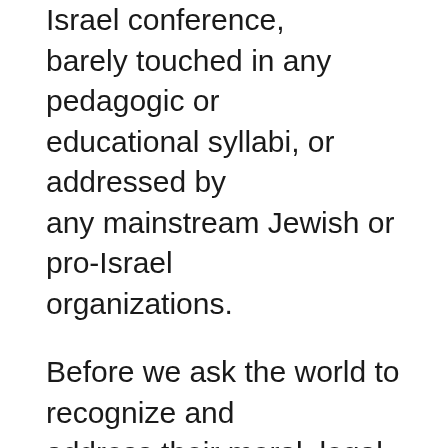Israel conference, barely touched in any pedagogic or educational syllabi, or addressed by any mainstream Jewish or pro-Israel organizations.
Before we ask the world to recognize and address their moral, legal and historic rights, we should inform ourselves about the history of the communities, as well as their cleansing and extinction during the 20th century.
For many around the world, Jewish history and culture is largely